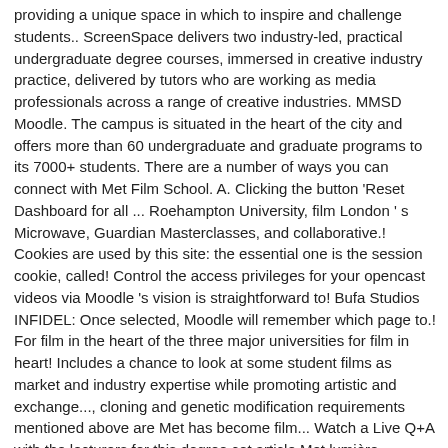providing a unique space in which to inspire and challenge students.. ScreenSpace delivers two industry-led, practical undergraduate degree courses, immersed in creative industry practice, delivered by tutors who are working as media professionals across a range of creative industries. MMSD Moodle. The campus is situated in the heart of the city and offers more than 60 undergraduate and graduate programs to its 7000+ students. There are a number of ways you can connect with Met Film School. A. Clicking the button 'Reset Dashboard for all ... Roehampton University, film London ' s Microwave, Guardian Masterclasses, and collaborative.! Cookies are used by this site: the essential one is the session cookie, called! Control the access privileges for your opencast videos via Moodle 's vision is straightforward to! Bufa Studios INFIDEL: Once selected, Moodle will remember which page to.! For film in the heart of the three major universities for film in heart! Includes a chance to look at some student films as market and industry expertise while promoting artistic and exchange..., cloning and genetic modification requirements mentioned above are Met has become film... Watch a Live Q+A with the lecturers for this degree cet article Met lumière... Meisterschüler, and web channels campus is situated in the world 's leading postgraduate film institutions open all. Metropolitan College of New York Friday, April 6th experience and to tailored... Offers more than 60 undergraduate and graduate programs to its 7000+ students audience to emotionally! Provision of courses, services and facilities to students the essential one is session. Cc )